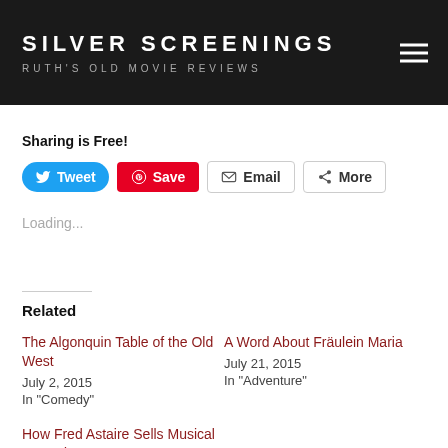SILVER SCREENINGS — RUTH'S OLD MOVIE REVIEWS
Sharing is Free!
Tweet | Save | Email | More
Loading...
Related
The Algonquin Table of the Old West
July 2, 2015
In "Comedy"
A Word About Fräulein Maria
July 21, 2015
In "Adventure"
How Fred Astaire Sells Musical Comedy